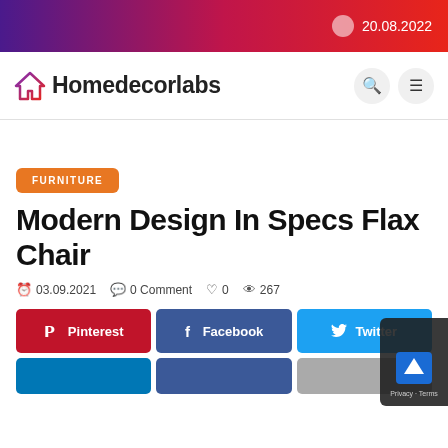20.08.2022
[Figure (logo): Homedecorlabs logo with house icon]
FURNITURE
Modern Design In Specs Flax Chair
03.09.2021  0 Comment  0  267
Pinterest  Facebook  Twitter